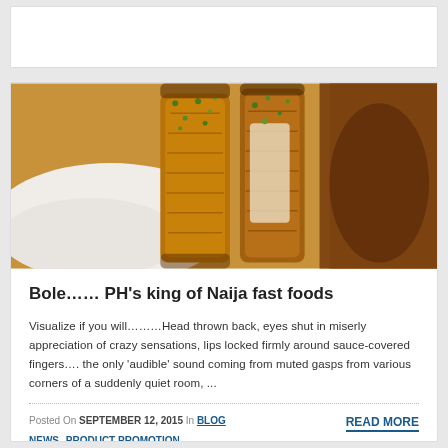[Figure (photo): Close-up photo of Bole (roasted plantain) dish with sauce and garnish on a plate]
Bole…… PH's king of Naija fast foods
Visualize if you will………Head thrown back, eyes shut in miserly appreciation of crazy sensations, lips locked firmly around sauce-covered fingers…. the only 'audible' sound coming from muted gasps from various corners of a suddenly quiet room, ...
Posted On SEPTEMBER 12, 2015 In BLOG NEWS PRODUCT PROMOTION
READ MORE